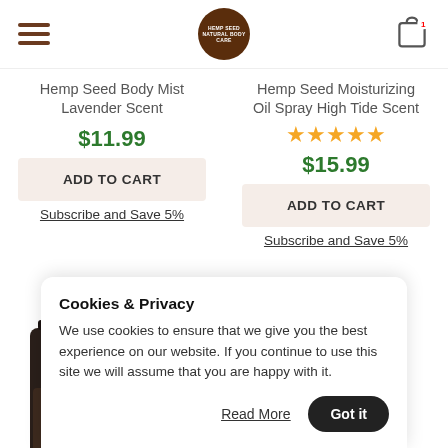Hemp Seed Natural Body Care – navigation header with logo and cart
Hemp Seed Body Mist Lavender Scent
$11.99
ADD TO CART
Subscribe and Save 5%
Hemp Seed Moisturizing Oil Spray High Tide Scent
$15.99
ADD TO CART
Subscribe and Save 5%
[Figure (photo): Hemp Seed Body Mist spray bottle product image]
Cookies & Privacy
We use cookies to ensure that we give you the best experience on our website. If you continue to use this site we will assume that you are happy with it.
Read More
Got it